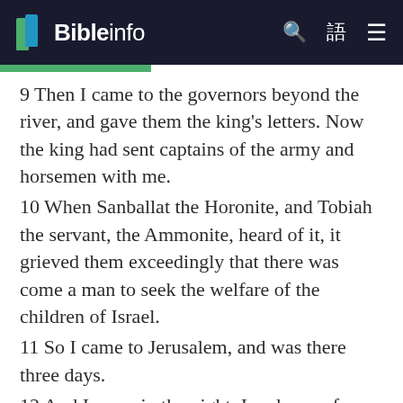Bibleinfo
9 Then I came to the governors beyond the river, and gave them the king's letters. Now the king had sent captains of the army and horsemen with me.
10 When Sanballat the Horonite, and Tobiah the servant, the Ammonite, heard of it, it grieved them exceedingly that there was come a man to seek the welfare of the children of Israel.
11 So I came to Jerusalem, and was there three days.
12 And I arose in the night, I and some few men with me; neither told I any man what my God had put in my heart to do at Jerusalem: neither was there any beast with me, save